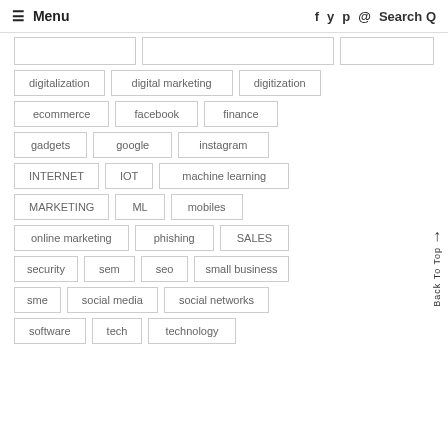≡ Menu  f  y  p  o  Search Q
digitalization
digital marketing
digitization
ecommerce
facebook
finance
gadgets
google
instagram
INTERNET
IOT
machine learning
MARKETING
ML
mobiles
online marketing
phishing
SALES
security
sem
seo
small business
sme
social media
social networks
software
tech
technology